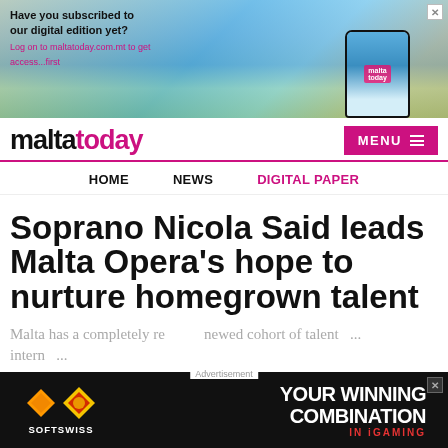[Figure (photo): Advertisement banner for MaltaToday digital edition. Shows a person holding a smartphone with a scenic view. Text: 'Have you subscribed to our digital edition yet? Log on to maltatoday.com.mt to get access...first']
maltatoday   MENU
HOME   NEWS   DIGITAL PAPER
Soprano Nicola Said leads Malta Opera's hope to nurture homegrown talent
Malta has a completely renewed cohort of talent... internationally...
[Figure (photo): Advertisement for SOFTSWISS - YOUR WINNING COMBINATION IN iGAMING. Dark background with casino chip graphic and diamond logos.]